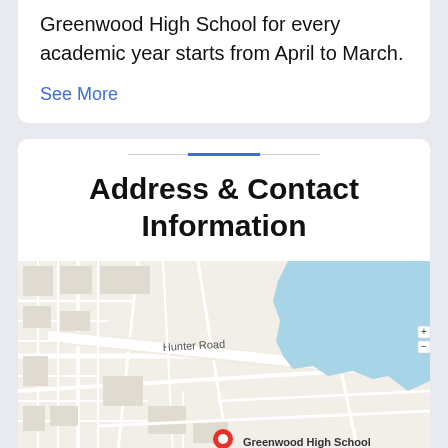Greenwood High School for every academic year starts from April to March.
See More
Address & Contact Information
[Figure (map): Google Maps view showing the area around Greenwood High School, with Hunter Road visible and a blue water body in the upper right. A red location pin marks Greenwood High School at the bottom center.]